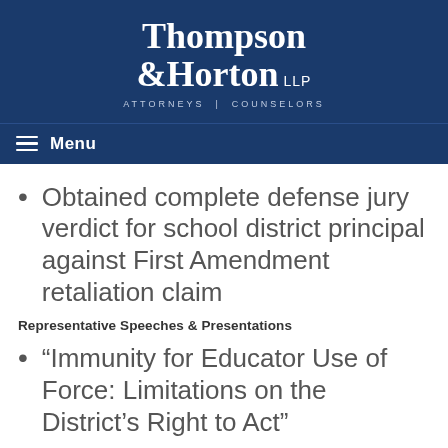[Figure (logo): Thompson & Horton LLP Attorneys | Counselors law firm logo in white on dark navy blue background]
Menu
Obtained complete defense jury verdict for school district principal against First Amendment retaliation claim
Representative Speeches & Presentations
“Immunity for Educator Use of Force: Limitations on the District’s Right to Act”